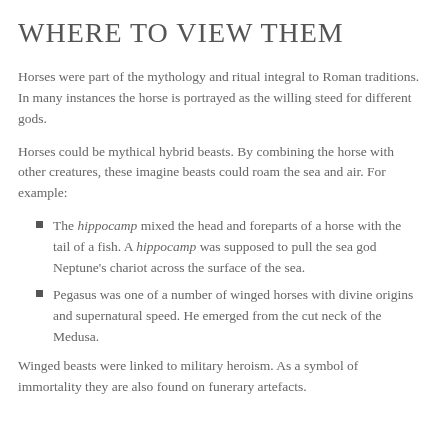WHERE TO VIEW THEM
Horses were part of the mythology and ritual integral to Roman traditions. In many instances the horse is portrayed as the willing steed for different gods.
Horses could be mythical hybrid beasts. By combining the horse with other creatures, these imagine beasts could roam the sea and air. For example:
The hippocamp mixed the head and foreparts of a horse with the tail of a fish. A hippocamp was supposed to pull the sea god Neptune's chariot across the surface of the sea.
Pegasus was one of a number of winged horses with divine origins and supernatural speed. He emerged from the cut neck of the Medusa.
Winged beasts were linked to military heroism. As a symbol of immortality they are also found on funerary artefacts.